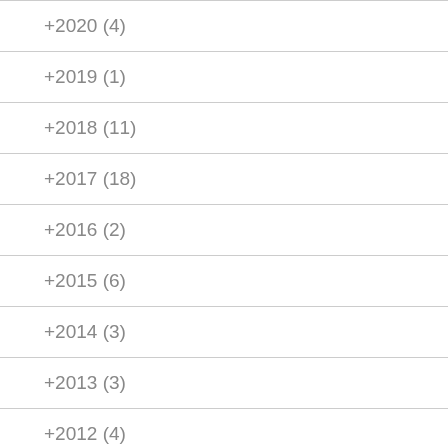+2020 (4)
+2019 (1)
+2018 (11)
+2017 (18)
+2016 (2)
+2015 (6)
+2014 (3)
+2013 (3)
+2012 (4)
+2011 (?)